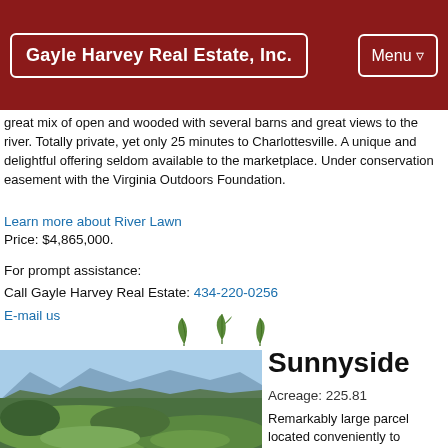Gayle Harvey Real Estate, Inc. | Menu
great mix of open and wooded with several barns and great views to the river. Totally private, yet only 25 minutes to Charlottesville. A unique and delightful offering seldom available to the marketplace. Under conservation easement with the Virginia Outdoors Foundation.
Learn more about River Lawn
Price: $4,865,000.
For prompt assistance:
Call Gayle Harvey Real Estate: 434-220-0256
E-mail us
[Figure (illustration): Three green leaf/sprout decorative divider icons]
[Figure (photo): Aerial landscape photo showing rolling green hills, forests, and mountains in the background under a blue sky.]
Sunnyside
Acreage: 225.81
Remarkably large parcel located conveniently to